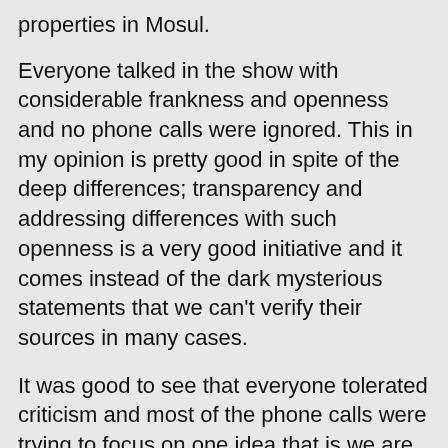properties in Mosul.
Everyone talked in the show with considerable frankness and openness and no phone calls were ignored. This in my opinion is pretty good in spite of the deep differences; transparency and addressing differences with such openness is a very good initiative and it comes instead of the dark mysterious statements that we can't verify their sources in many cases.
It was good to see that everyone tolerated criticism and most of the phone calls were trying to focus on one idea that is we are all Iraqis in the 1st place and we still have the desire to work as one hand.
The show was very interesting indeed.
Abu Manar said "people were looking at us with suspicion and a look of surprise was on their faces when the three of us were walking in Baghdad streets wearing our beards that clearly indicate that we're Salafis and it seems that people still think that everyone wearing a beard is a terrorist. This belief is in fact a result of the doings of "mufsidoon" and we